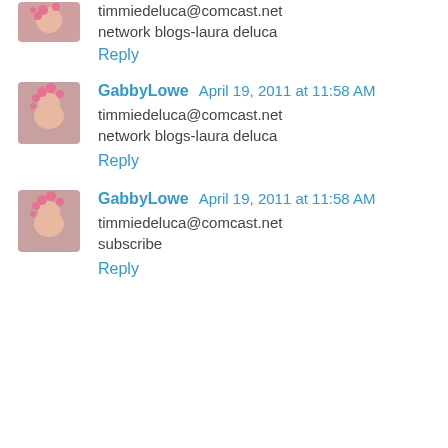timmiedeluca@comcast.net
network blogs-laura deluca
Reply
GabbyLowe April 19, 2011 at 11:58 AM
timmiedeluca@comcast.net
network blogs-laura deluca
Reply
GabbyLowe April 19, 2011 at 11:58 AM
timmiedeluca@comcast.net
subscribe
Reply